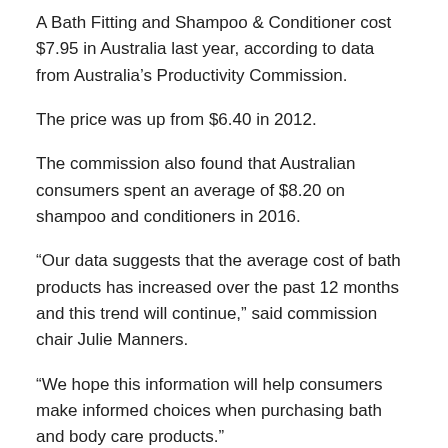A Bath Fitting and Shampoo & Conditioner cost $7.95 in Australia last year, according to data from Australia's Productivity Commission.
The price was up from $6.40 in 2012.
The commission also found that Australian consumers spent an average of $8.20 on shampoo and conditioners in 2016.
“Our data suggests that the average cost of bath products has increased over the past 12 months and this trend will continue,” said commission chair Julie Manners.
“We hope this information will help consumers make informed choices when purchasing bath and body care products.”
A new shampoo and body wash was also added to the list